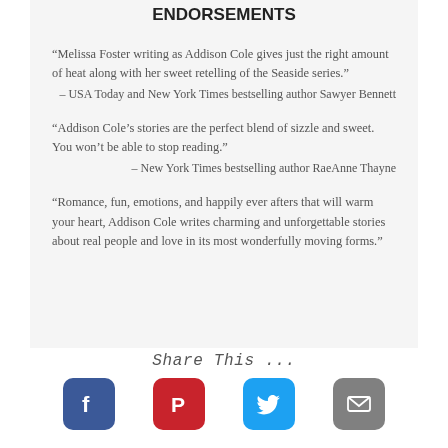Endorsements
“Melissa Foster writing as Addison Cole gives just the right amount of heat along with her sweet retelling of the Seaside series.”
– USA Today and New York Times bestselling author Sawyer Bennett
“Addison Cole’s stories are the perfect blend of sizzle and sweet. You won’t be able to stop reading.”
– New York Times bestselling author RaeAnne Thayne
“Romance, fun, emotions, and happily ever afters that will warm your heart, Addison Cole writes charming and unforgettable stories about real people and love in its most wonderfully moving forms.”
Share This ...
[Figure (other): Social sharing icons: Facebook (blue), Pinterest (red), Twitter (cyan), Email (gray)]